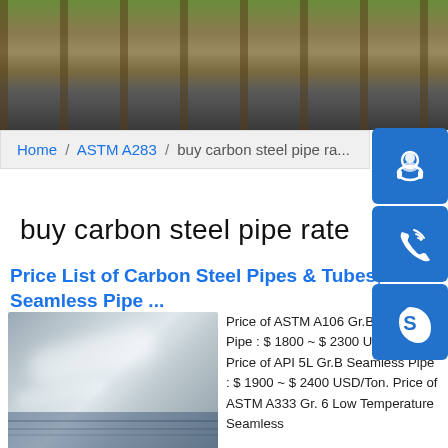[Figure (photo): Hero banner showing railway tracks and gravel with green plants, brown steel rails visible]
Home / ASTM A283 / buy carbon steel pipe ra...
buy carbon steel pipe rate
[Figure (other): Three blue icon buttons on right side: customer service headset icon, phone/call icon, Skype icon]
Price List of Carbon Steel Pipes & Tubes, Seamless Pipe ...
[Figure (photo): Thumbnail photo of stacked polished metal/steel sheets with light reflections, blue base visible]
Price of ASTM A106 Gr.B Seamless Pipe : $ 1800 ~ $ 2300 USD/Ton. Price of API 5L Gr.B Seamless Pipe : $ 1900 ~ $ 2400 USD/Ton. Price of ASTM A333 Gr. 6 Low Temperature Seamless